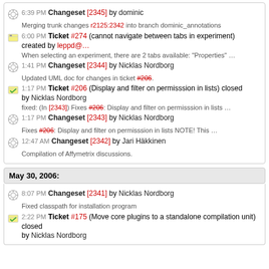6:39 PM Changeset [2345] by dominic — Merging trunk changes r2125:2342 into branch dominic_annotations
6:00 PM Ticket #274 (cannot navigate between tabs in experiment) created by leppd@... — When selecting an experiment, there are 2 tabs available: "Properties" ...
1:41 PM Changeset [2344] by Nicklas Nordborg — Updated UML doc for changes in ticket #206.
1:17 PM Ticket #206 (Display and filter on permisssion in lists) closed by Nicklas Nordborg — fixed: (In [2343]) Fixes #206: Display and filter on permisssion in lists ...
1:17 PM Changeset [2343] by Nicklas Nordborg — Fixes #206: Display and filter on permisssion in lists NOTE! This ...
12:47 AM Changeset [2342] by Jari Häkkinen — Compilation of Affymetrix discussions.
May 30, 2006:
8:07 PM Changeset [2341] by Nicklas Nordborg — Fixed classpath for installation program
2:22 PM Ticket #175 (Move core plugins to a standalone compilation unit) closed by Nicklas Nordborg